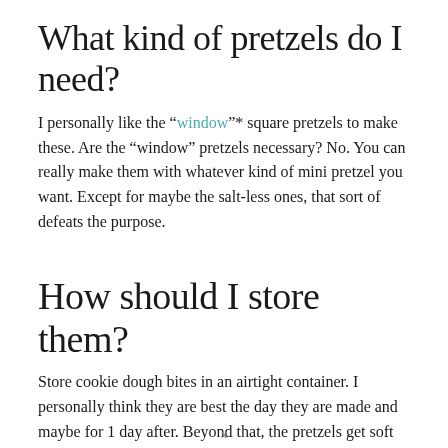What kind of pretzels do I need?
I personally like the “window”* square pretzels to make these. Are the “window” pretzels necessary? No. You can really make them with whatever kind of mini pretzel you want. Except for maybe the salt-less ones, that sort of defeats the purpose.
How should I store them?
Store cookie dough bites in an airtight container. I personally think they are best the day they are made and maybe for 1 day after. Beyond that, the pretzels get soft and aren’t as good. You can make the edible cookie dough 3-4